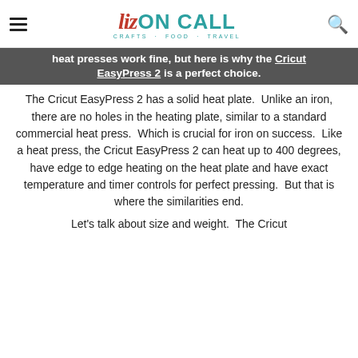Liz ON CALL — CRAFTS · FOOD · TRAVEL
heat presses work fine, but here is why the Cricut EasyPress 2 is a perfect choice.
The Cricut EasyPress 2 has a solid heat plate.  Unlike an iron, there are no holes in the heating plate, similar to a standard commercial heat press.  Which is crucial for iron on success.  Like a heat press, the Cricut EasyPress 2 can heat up to 400 degrees, have edge to edge heating on the heat plate and have exact temperature and timer controls for perfect pressing.  But that is where the similarities end.
Let's talk about size and weight.  The Cricut